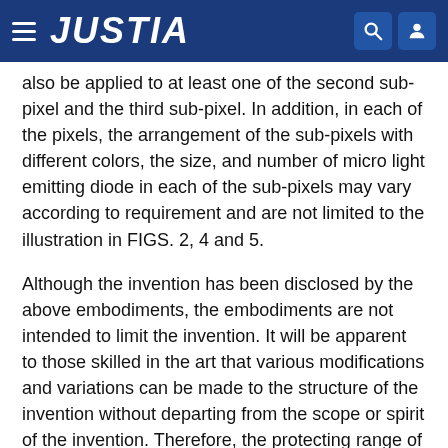JUSTIA
also be applied to at least one of the second sub-pixel and the third sub-pixel. In addition, in each of the pixels, the arrangement of the sub-pixels with different colors, the size, and number of micro light emitting diode in each of the sub-pixels may vary according to requirement and are not limited to the illustration in FIGS. 2, 4 and 5.
Although the invention has been disclosed by the above embodiments, the embodiments are not intended to limit the invention. It will be apparent to those skilled in the art that various modifications and variations can be made to the structure of the invention without departing from the scope or spirit of the invention. Therefore, the protecting range of the invention falls in the appended claims.
Claims